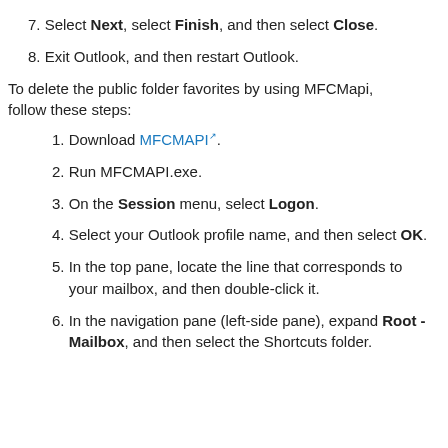7. Select Next, select Finish, and then select Close.
8. Exit Outlook, and then restart Outlook.
To delete the public folder favorites by using MFCMapi, follow these steps:
1. Download MFCMAPI.
2. Run MFCMAPI.exe.
3. On the Session menu, select Logon.
4. Select your Outlook profile name, and then select OK.
5. In the top pane, locate the line that corresponds to your mailbox, and then double-click it.
6. In the navigation pane (left-side pane), expand Root - Mailbox, and then select the Shortcuts folder.